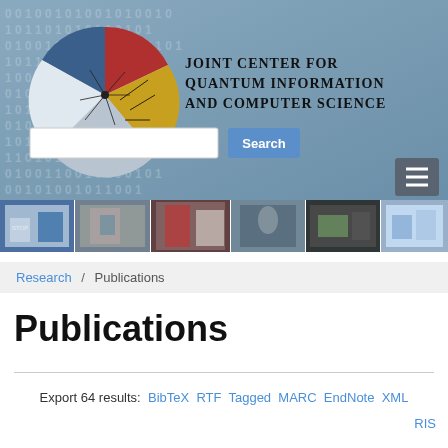[Figure (logo): Joint Center for Quantum Information and Computer Science logo — a sphere divided into colored wedges with circuit pattern, alongside the organization name in serif bold uppercase text. Background has binary digits 0 and 1 on a blue-grey gradient.]
[Figure (photo): Horizontal strip of six photos showing researchers and students working in labs, writing on whiteboards, using computers, and collaborating in office spaces.]
Research / Publications
Publications
Export 64 results: BibTeX RTF Tagged MARC EndNote XML RIS